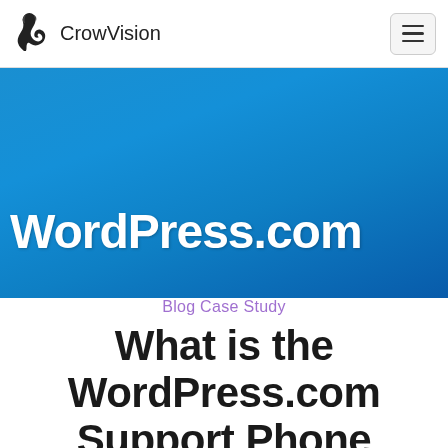CrowVision
[Figure (screenshot): WordPress.com blue banner header image with white WordPress.com logo text on blue gradient background]
Blog Case Study
What is the WordPress.com Support Phone Number
Have you ever had problems with